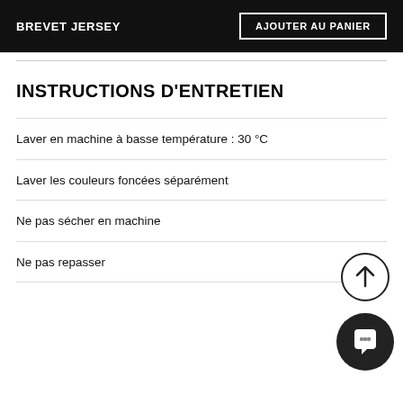BREVET JERSEY
AJOUTER AU PANIER
INSTRUCTIONS D'ENTRETIEN
Laver en machine à basse température : 30 °C
Laver les couleurs foncées séparément
Ne pas sécher en machine
Ne pas repasser